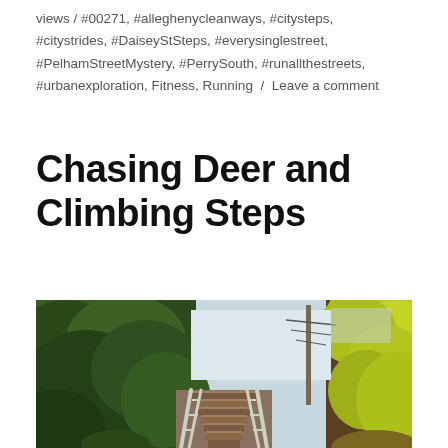views / #00271, #alleghenycleanways, #citysteps, #citystrides, #DaiseyStSteps, #everysinglestreet, #PelhamStreetMystery, #PerrySouth, #runallthestreets, #urbanexploration, Fitness, Running / Leave a comment
Chasing Deer and Climbing Steps
[Figure (photo): Outdoor staircase with white metal railings leading upward, flanked by dense green trees and shrubs on the left and a yellow-leafed tree on the right, with utility poles and a pale sky in the background.]